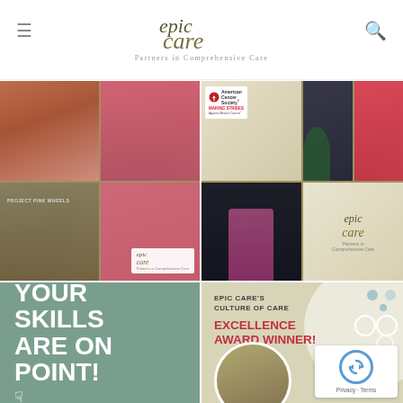[Figure (logo): Epic Care logo with tagline 'Partners in Comprehensive Care', hamburger menu icon on left, search icon on right]
[Figure (photo): Collage of photos from Project Pink Wheels breast cancer awareness event with a pink fire truck, people in pink shirts, Epic Care logo overlay]
[Figure (photo): Collage of photos from American Cancer Society Making Strides Against Breast Cancer event, including a speaker in pink dress, a couple posing, mascot, and Epic Care logo]
[Figure (infographic): Teal/sage green background card with bold white text reading 'YOUR SKILLS ARE ON POINT!' with a cursor/hand pointer icon]
[Figure (infographic): Beige/tan background card with text 'EPIC CARE'S CULTURE OF CARE' and bold red text 'EXCELLENCE AWARD WINNER!' with decorative circles, partial photo of award winner, and reCAPTCHA badge]